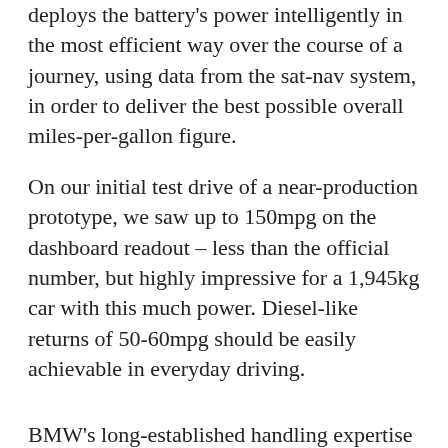deploys the battery's power intelligently in the most efficient way over the course of a journey, using data from the sat-nav system, in order to deliver the best possible overall miles-per-gallon figure.
On our initial test drive of a near-production prototype, we saw up to 150mpg on the dashboard readout – less than the official number, but highly impressive for a 1,945kg car with this much power. Diesel-like returns of 50-60mpg should be easily achievable in everyday driving.
BMW's long-established handling expertise means that extra weight – due to the presence of the batteries and electric motor – doesn't unduly affect the trademark sporty handling common to all variants of the 5 Series. So are there any downsides? Well, the 545e upholds the plug-in hybrid tradition of not offering rapid